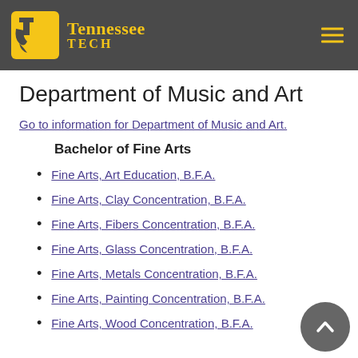Tennessee Tech
Department of Music and Art
Go to information for Department of Music and Art.
Bachelor of Fine Arts
Fine Arts, Art Education, B.F.A.
Fine Arts, Clay Concentration, B.F.A.
Fine Arts, Fibers Concentration, B.F.A.
Fine Arts, Glass Concentration, B.F.A.
Fine Arts, Metals Concentration, B.F.A.
Fine Arts, Painting Concentration, B.F.A.
Fine Arts, Wood Concentration, B.F.A.